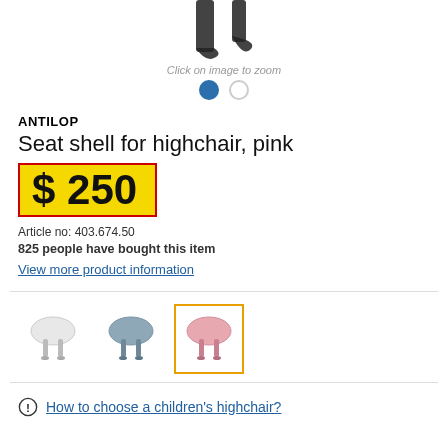[Figure (photo): Partial view of product images (straps/harness parts) at top of page, cropped]
Click on image to zoom
ANTILOP
Seat shell for highchair, pink
$ 250
Article no: 403.674.50
825 people have bought this item
View more product information
[Figure (photo): Three thumbnail images of highchair seat shells: white, blue-grey, and pink (selected, highlighted with orange border)]
How to choose a children's highchair?